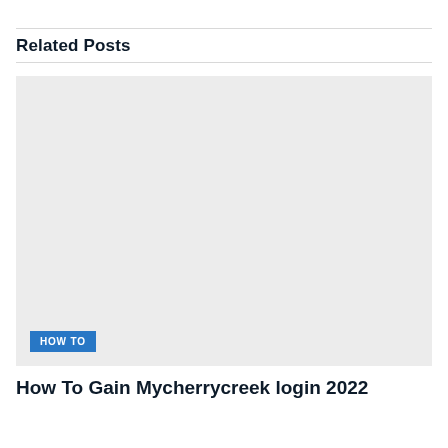Related Posts
[Figure (photo): Light grey placeholder image with a blue 'HOW TO' badge in the bottom left corner]
How To Gain Mycherrycreek login 2022